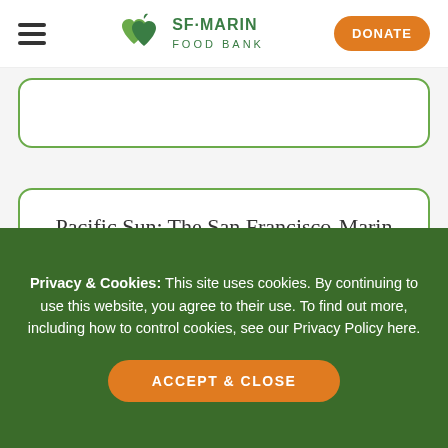SF·MARIN FOOD BANK — DONATE
Pacific Sun: The San Francisco-Marin Food Bank Answers the Hunger Call
Privacy & Cookies: This site uses cookies. By continuing to use this website, you agree to their use. To find out more, including how to control cookies, see our Privacy Policy here.